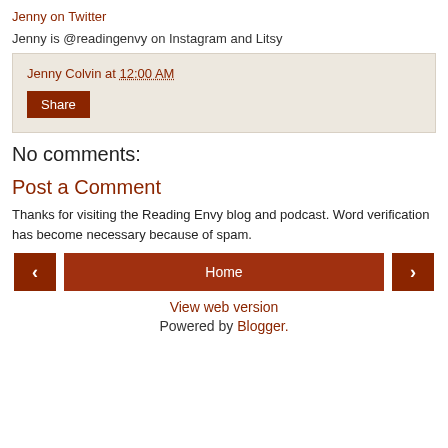Jenny on Twitter
Jenny is @readingenvy on Instagram and Litsy
Jenny Colvin at 12:00 AM
Share
No comments:
Post a Comment
Thanks for visiting the Reading Envy blog and podcast. Word verification has become necessary because of spam.
Home
View web version
Powered by Blogger.